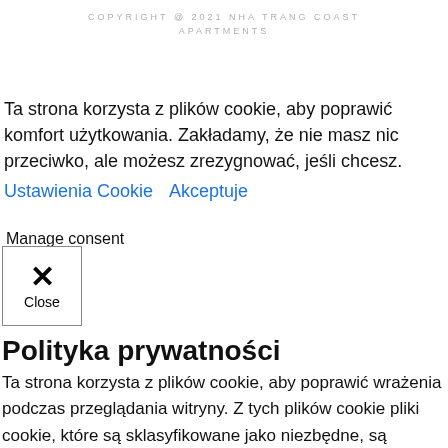COPYRIGHT @ 2021 NHA TRANG COAST APARTMENTS
Ta strona korzysta z plików cookie, aby poprawić komfort użytkowania. Zakładamy, że nie masz nic przeciwko, ale możesz zrezygnować, jeśli chcesz.
Ustawienia Cookie   Akceptuje
Manage consent
[Figure (other): Close button with X icon and 'Close' label]
Polityka prywatności
Ta strona korzysta z plików cookie, aby poprawić wrażenia podczas przeglądania witryny. Z tych plików cookie pliki cookie, które są sklasyfikowane jako niezbędne, są przechowywane w przeglądarce, ponieważ są niezbędne do działania podstawowych funkcji witryny. Używamy również plików cookie stron trzecich, które pomagają nam